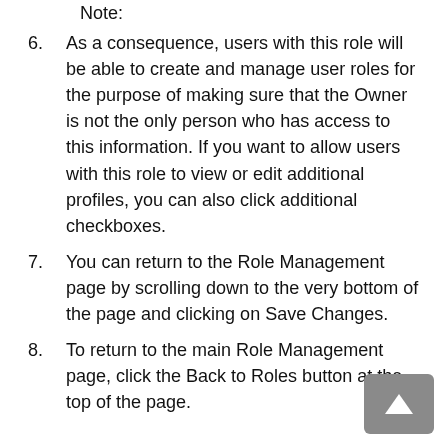Note:
As a consequence, users with this role will be able to create and manage user roles for the purpose of making sure that the Owner is not the only person who has access to this information. If you want to allow users with this role to view or edit additional profiles, you can also click additional checkboxes.
You can return to the Role Management page by scrolling down to the very bottom of the page and clicking on Save Changes.
To return to the main Role Management page, click the Back to Roles button at the top of the page.